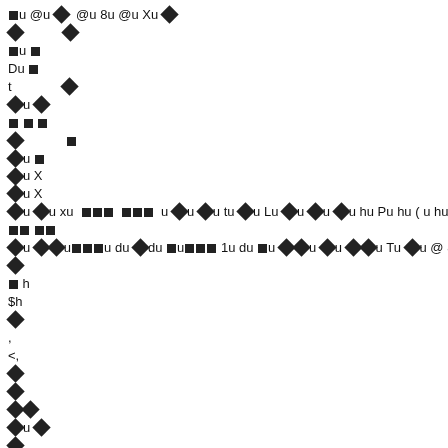[corrupted/encoded content - diamond symbols and mixed characters throughout]